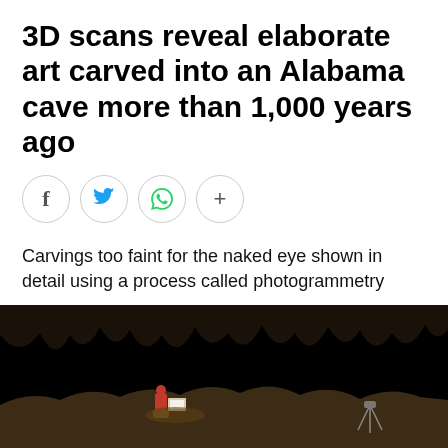3D scans reveal elaborate art carved into an Alabama cave more than 1,000 years ago
[Figure (illustration): Social media share icons: Facebook, Twitter, WhatsApp, and a plus/more button, each in a circle]
Carvings too faint for the naked eye shown in detail using a process called photogrammetry
CBC Radio · Posted: May 09, 2022 5:46 PM ET | Last Updated: May 10
[Figure (photo): A person in a red jacket sitting in a dark cave illuminated by a light box, with stalactites and cave formations visible along the ceiling against a black background]